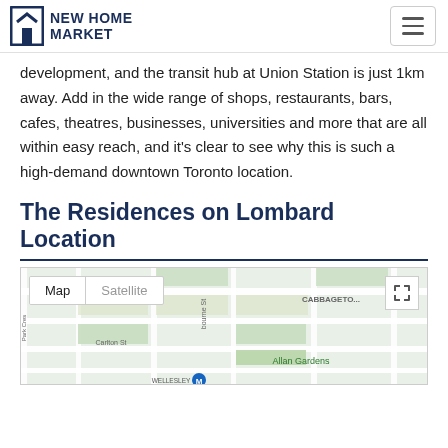NEW HOME MARKET
development, and the transit hub at Union Station is just 1km away. Add in the wide range of shops, restaurants, bars, cafes, theatres, businesses, universities and more that are all within easy reach, and it's clear to see why this is such a high-demand downtown Toronto location.
The Residences on Lombard Location
[Figure (map): Google Maps view showing Cabbagetown, Wellesley, Carlton St, Allan Gardens, Park Cres area of downtown Toronto with Map/Satellite toggle buttons]